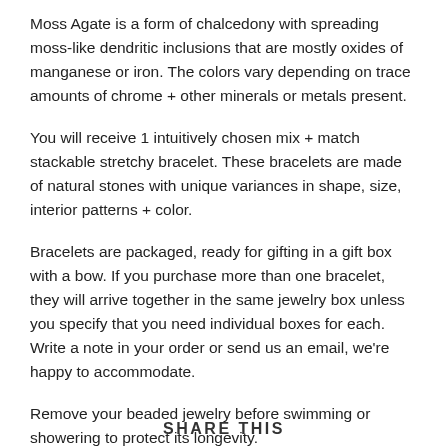Moss Agate is a form of chalcedony with spreading moss-like dendritic inclusions that are mostly oxides of manganese or iron. The colors vary depending on trace amounts of chrome + other minerals or metals present.
You will receive 1 intuitively chosen mix + match stackable stretchy bracelet. These bracelets are made of natural stones with unique variances in shape, size, interior patterns + color.
Bracelets are packaged, ready for gifting in a gift box with a bow. If you purchase more than one bracelet, they will arrive together in the same jewelry box unless you specify that you need individual boxes for each. Write a note in your order or send us an email, we're happy to accommodate.
Remove your beaded jewelry before swimming or showering to protect its longevity.
SHARE THIS